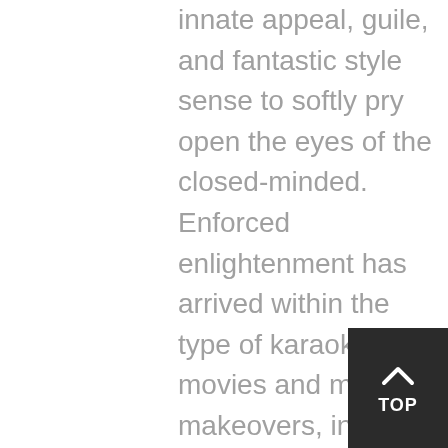innate appeal, guile, and fantastic style sense to softly pry open the eyes of the closed-minded. Enforced enlightenment has arrived within the type of karaoke movies and museum makeovers, in photographic psychodramas and parade performances, in bridesmaid entrepreneurships and corporate dominations. As he neared his fortieth birthday, however, Mr. Behnen began to tire of the tempo.
Many issues usually obtainable for individuals from the Western world turn into an unaffordable luxury. Lone men and women used magazines, journals, and newspapers at the moment. Ladies